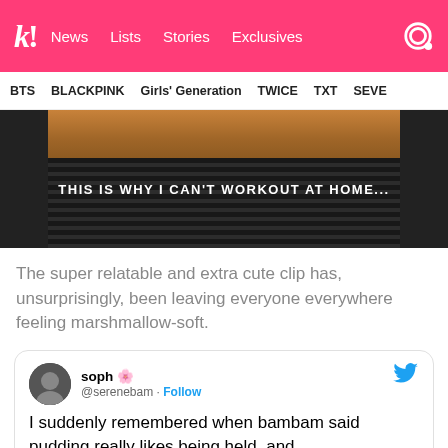k! News  Lists  Stories  Exclusives
BTS  BLACKPINK  Girls' Generation  TWICE  TXT  SEVE
[Figure (photo): Dark image with wood paneling at top and ribbed black panel below, text overlay reading: THIS IS WHY I CAN'T WORKOUT AT HOME...]
The super relatable and extra cute clip has, unsurprisingly, been leaving everyone everywhere feeling marshmallow-soft.
soph 🌸 @serenebam · Follow
I suddenly remembered when bambam said pudding really likes being held, and